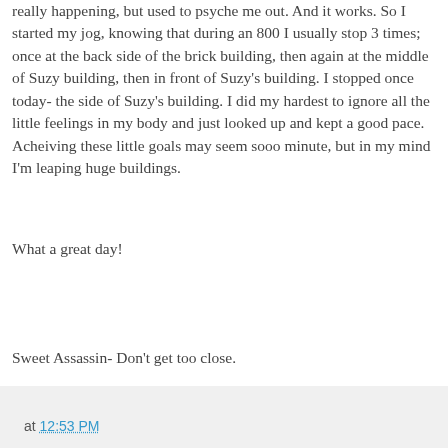really happening, but used to psyche me out. And it works. So I started my jog, knowing that during an 800 I usually stop 3 times; once at the back side of the brick building, then again at the middle of Suzy building, then in front of Suzy's building. I stopped once today- the side of Suzy's building. I did my hardest to ignore all the little feelings in my body and just looked up and kept a good pace. Acheiving these little goals may seem sooo minute, but in my mind I'm leaping huge buildings.
What a great day!
Sweet Assassin- Don't get too close.
at 12:53 PM